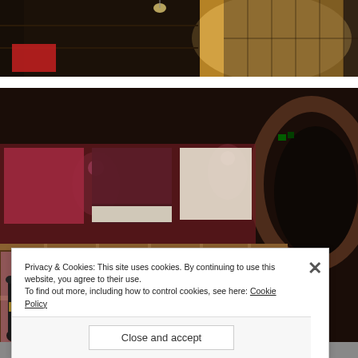[Figure (photo): Top portion of a wine cellar or shop interior showing shelving and warm lighting]
[Figure (photo): Wine cellar with wood-paneled wine bottle display shelves holding multiple bottles, brick arched tunnel visible on right with spotlights, posters/artwork on wall behind shelves]
Privacy & Cookies: This site uses cookies. By continuing to use this website, you agree to their use.
To find out more, including how to control cookies, see here: Cookie Policy
Close and accept